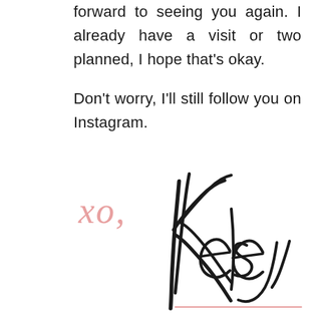forward to seeing you again. I already have a visit or two planned, I hope that's okay.
Don't worry, I'll still follow you on Instagram.
[Figure (illustration): Handwritten signature reading 'xo, Kelsey' in script. 'xo,' is in pink/salmon color and 'Kelsey' is in large black cursive script with a pink underline.]